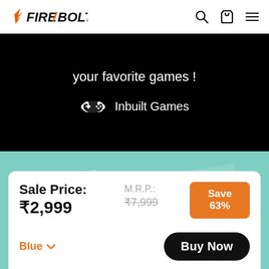FIRE-BOLTT (logo with navigation icons)
your favorite games !
Inbuilt Games
[Figure (illustration): Teal background with decorative geometric shapes (parallelogram forms in lighter teal)]
Sale Price: ₹2,999
M.R.P.: ₹7,999
Save 63%
Blue ∨
Buy Now